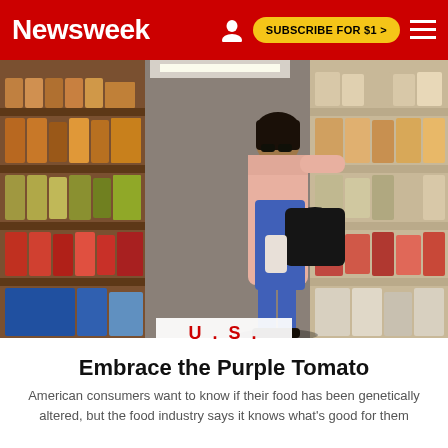Newsweek | SUBSCRIBE FOR $1 >
[Figure (photo): Woman in blue dress and pink jacket shopping in a grocery store aisle, reaching for items on shelves stocked with canned goods and packaged foods. Another person visible walking away in the background.]
U.S.
Embrace the Purple Tomato
American consumers want to know if their food has been genetically altered, but the food industry says it knows what's good for them